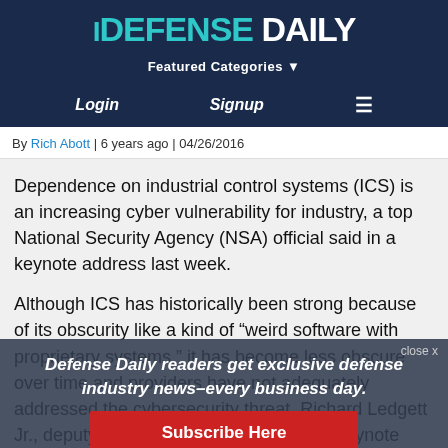DEFENSE DAILY
Featured Categories
Login   Signup   ☰
By Rich Abott | 6 years ago | 04/26/2016
Dependence on industrial control systems (ICS) is an increasing cyber vulnerability for industry, a top National Security Agency (NSA) official said in a keynote address last week.
Although ICS has historically been strong because of its obscurity like a kind of "weird software with proprietary systems," it has become less obscure over time and providers have not adequately addressed the cybersecurity threat, Richard Ledgett Jr., deputy director of the NSA, said in a keynote address at the Joint Service Academy Cyber Security Summit at the U.S.
Defense Daily readers get exclusive defense industry news–every business day.
Subscribe Here